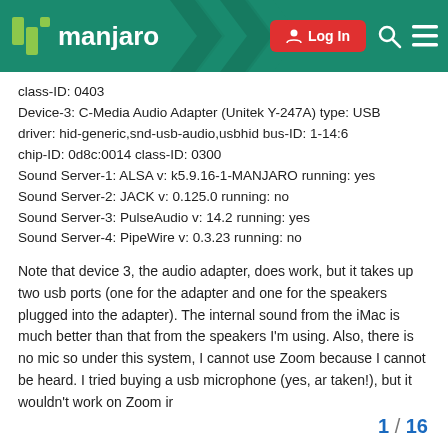Manjaro — Log In
class-ID: 0403
Device-3: C-Media Audio Adapter (Unitek Y-247A) type: USB
driver: hid-generic,snd-usb-audio,usbhid bus-ID: 1-14:6
chip-ID: 0d8c:0014 class-ID: 0300
Sound Server-1: ALSA v: k5.9.16-1-MANJARO running: yes
Sound Server-2: JACK v: 0.125.0 running: no
Sound Server-3: PulseAudio v: 14.2 running: yes
Sound Server-4: PipeWire v: 0.3.23 running: no
Note that device 3, the audio adapter, does work, but it takes up two usb ports (one for the adapter and one for the speakers plugged into the adapter). The internal sound from the iMac is much better than that from the speakers I'm using. Also, there is no mic so under this system, I cannot use Zoom because I cannot be heard. I tried buying a usb microphone (yes, an taken!), but it wouldn't work on Zoom in
1 / 16